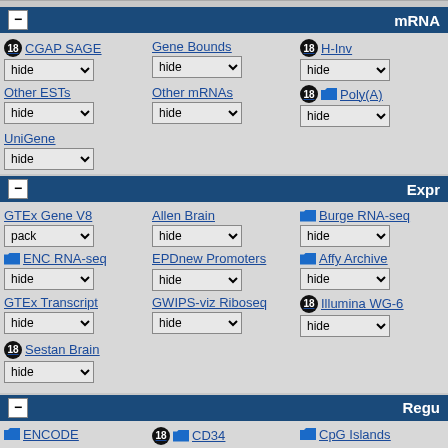mRNA
CGAP SAGE | hide
Gene Bounds | hide
H-Inv | hide
Other ESTs | hide
Other mRNAs | hide
Poly(A) | hide
UniGene | hide
Expr
GTEx Gene V8 | pack
Allen Brain | hide
Burge RNA-seq | hide
ENC RNA-seq | hide
EPDnew Promoters | hide
Affy Archive | hide
GTEx Transcript | hide
GWIPS-viz Riboseq | hide
Illumina WG-6 | hide
Sestan Brain | hide
Regu
ENCODE
CD34
CpG Islands